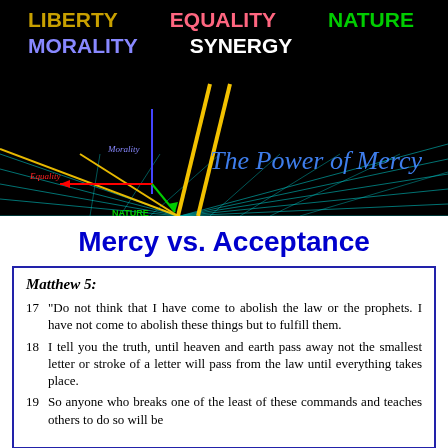LIBERTY   EQUALITY   NATURE
MORALITY   SYNERGY
[Figure (illustration): Dark background diagram with 3D grid perspective lines in cyan/yellow, showing axes labeled Morality (vertical, blue), Equality (horizontal, red arrow), and NATURE (diagonal, green arrow). Title 'The Power of Mercy' in ornate blue gothic font on right.]
Mercy vs. Acceptance
Matthew 5:
17 "Do not think that I have come to abolish the law or the prophets. I have not come to abolish these things but to fulfill them.
18 I tell you the truth, until heaven and earth pass away not the smallest letter or stroke of a letter will pass from the law until everything takes place.
19 So anyone who breaks one of the least of these commands and teaches others to do so will be